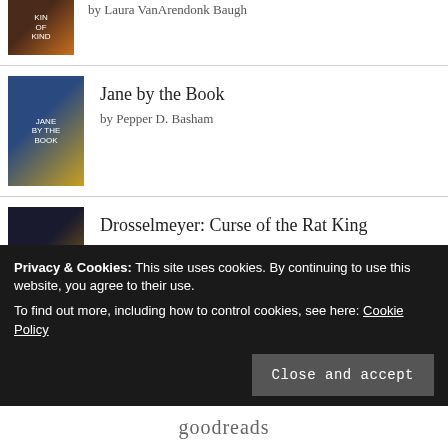Kin of My Kind by Laura VanArendonk Baugh
Jane by the Book by Pepper D. Basham
Drosselmeyer: Curse of the Rat King by Paul Thompson
Songs in the Night by Laura Frances
Privacy & Cookies: This site uses cookies. By continuing to use this website, you agree to their use. To find out more, including how to control cookies, see here: Cookie Policy
Close and accept
goodreads